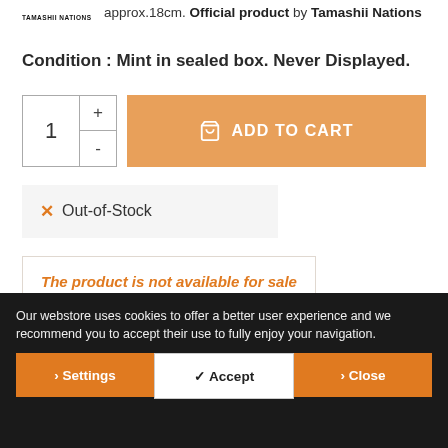TAMASHII NATIONS
approx.18cm. Official product by Tamashii Nations
Condition : Mint in sealed box. Never Displayed.
1 + - ADD TO CART
✕ Out-of-Stock
The product is not available for sale
Our webstore uses cookies to offer a better user experience and we recommend you to accept their use to fully enjoy your navigation.
> Settings  ✓ Accept  > Close